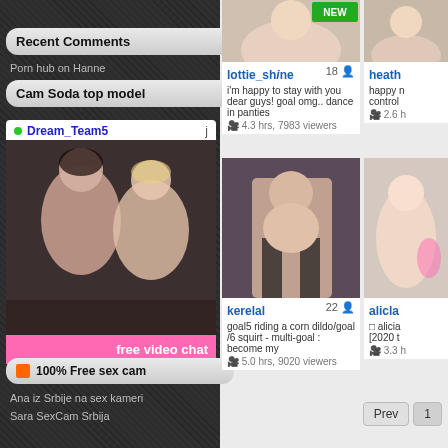Recent Comments
Porn hub on Hanne
Cam Soda top model
• Dream_Team5   j
[Figure (photo): Webcam thumbnail showing two women]
free video chat
[Figure (photo): Webcam thumbnail for lottie_shine, age 18, NEW badge]
lottie_shine  18
i'm happy to stay with you dear guys! goal omg.. dance in panties
4.3 hrs, 7983 viewers
[Figure (photo): Webcam thumbnail for kerelal, age 22]
kerelal  22
goal5 riding a corn dildo/goal /6 squirt - multi-goal : become my
5.0 hrs, 9020 viewers
heath...  (partially visible)
alicla... (partially visible)
🔶 100% Free sex cam
Ana iz Srbije na sex kameri
Sara SexCam Srbija
Prev  1